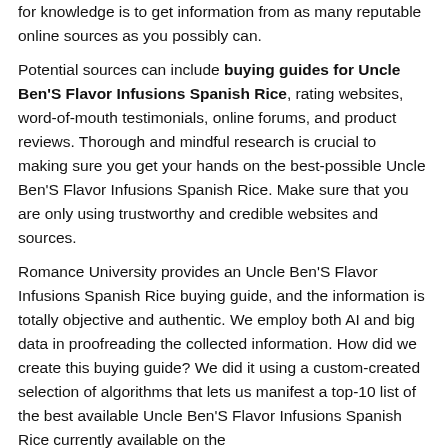for knowledge is to get information from as many reputable online sources as you possibly can.
Potential sources can include buying guides for Uncle Ben'S Flavor Infusions Spanish Rice, rating websites, word-of-mouth testimonials, online forums, and product reviews. Thorough and mindful research is crucial to making sure you get your hands on the best-possible Uncle Ben'S Flavor Infusions Spanish Rice. Make sure that you are only using trustworthy and credible websites and sources.
Romance University provides an Uncle Ben'S Flavor Infusions Spanish Rice buying guide, and the information is totally objective and authentic. We employ both AI and big data in proofreading the collected information. How did we create this buying guide? We did it using a custom-created selection of algorithms that lets us manifest a top-10 list of the best available Uncle Ben'S Flavor Infusions Spanish Rice currently available on the